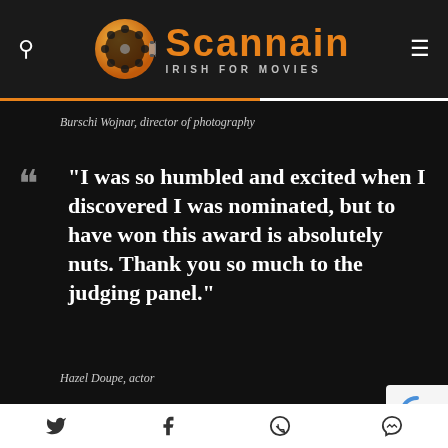[Figure (logo): Scannain logo with film reel icon and text 'Scannain - IRISH FOR MOVIES' on dark header bar]
Burschi Wojnar, director of photography
“I was so humbled and excited when I discovered I was nominated, but to have won this award is absolutely nuts. Thank you so much to the judging panel.”
Hazel Doupe, actor
[Figure (logo): reCAPTCHA badge in bottom right corner]
Social share icons: Twitter, Facebook, WhatsApp, Messenger